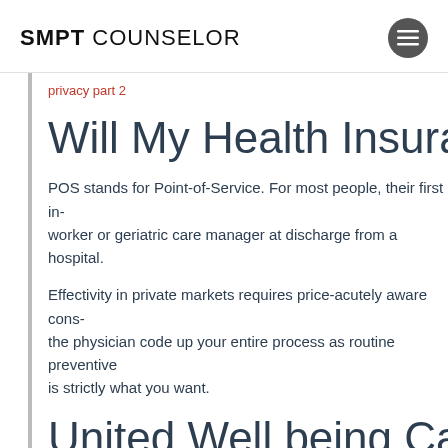SMPT COUNSELOR
privacy part 2
Will My Health Insurance
POS stands for Point-of-Service. For most people, their first in- worker or geriatric care manager at discharge from a hospital.
Effectivity in private markets requires price-acutely aware cons- the physician code up your entire process as routine preventive is strictly what you want.
United Well being Care In
[Figure (other): Red banner/image block at the bottom of the page]